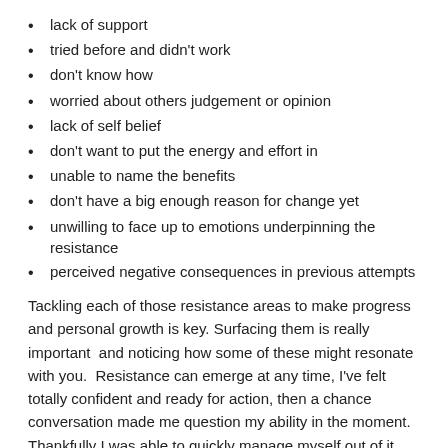lack of support
tried before and didn't work
don't know how
worried about others judgement or opinion
lack of self belief
don't want to put the energy and effort in
unable to name the benefits
don't have a big enough reason for change yet
unwilling to face up to emotions underpinning the resistance
perceived negative consequences in previous attempts
Tackling each of those resistance areas to make progress and personal growth is key. Surfacing them is really important  and noticing how some of these might resonate with you.  Resistance can emerge at any time, I've felt totally confident and ready for action, then a chance conversation made me question my ability in the moment. Thankfully I was able to quickly manage myself out of it, but we can all experience these things